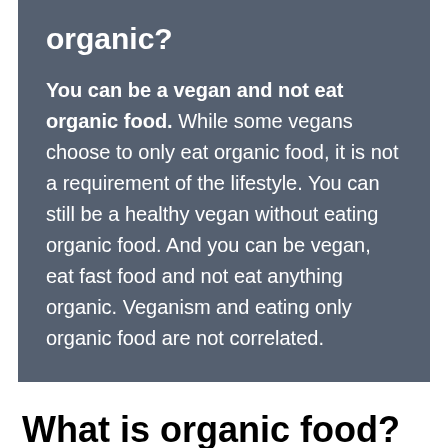organic?
You can be a vegan and not eat organic food. While some vegans choose to only eat organic food, it is not a requirement of the lifestyle. You can still be a healthy vegan without eating organic food. And you can be vegan, eat fast food and not eat anything organic. Veganism and eating only organic food are not correlated.
What is organic food?